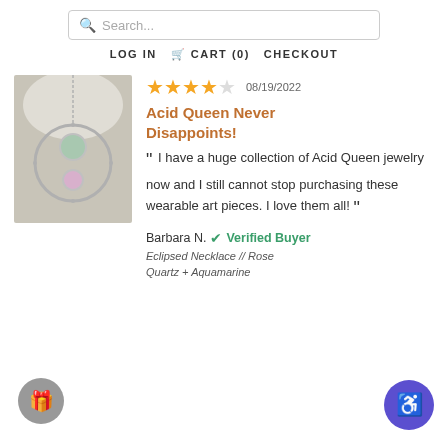Search... | LOG IN  CART (0)  CHECKOUT
[Figure (photo): Product photo of Eclipsed Necklace with Rose Quartz and Aquamarine stones in a circular silver pendant]
★★★★☆  08/19/2022
Acid Queen Never Disappoints!
“ I have a huge collection of Acid Queen jewelry now and I still cannot stop purchasing these wearable art pieces. I love them all! ”
Barbara N. ✅ Verified Buyer
Eclipsed Necklace // Rose Quartz + Aquamarine